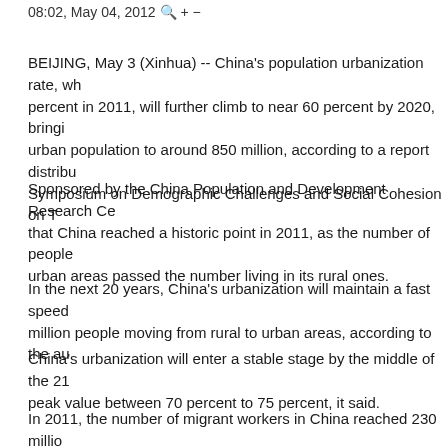08:02, May 04, 2012 🔍 + −
BEIJING, May 3 (Xinhua) -- China's population urbanization rate, which reached 51.27 percent in 2011, will further climb to near 60 percent by 2020, bringing the country's urban population to around 850 million, according to a report distributed at the International Symposium on Demographic Challenges and Social Cohesion on Thursday.
Sponsored by the China Population and Development Research Center, the report found that China reached a historic point in 2011, as the number of people living in its urban areas passed the number living in its rural ones.
In the next 20 years, China's urbanization will maintain a fast speed, with around 13 million people moving from rural to urban areas, according to the author.
China's urbanization will enter a stable stage by the middle of the 21st century, with a peak value between 70 percent to 75 percent, it said.
In 2011, the number of migrant workers in China reached 230 million, and the yearly adding annual growth of the migrant population will be around 10 million during the 12th Five-Year Plan period (2011-2015).